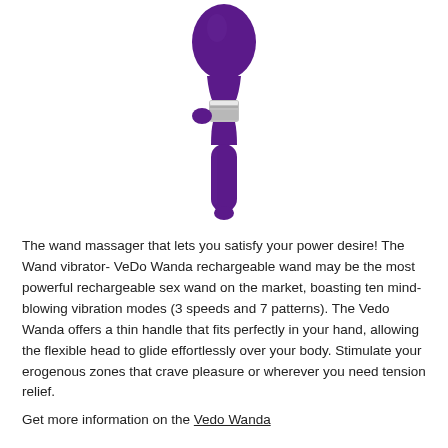[Figure (photo): A purple wand massager/vibrator with a rounded head at the top, silver metallic band in the middle section, and a tapered handle at the bottom. The device is shown against a white background.]
The wand massager that lets you satisfy your power desire! The Wand vibrator- VeDo Wanda rechargeable wand may be the most powerful rechargeable sex wand on the market, boasting ten mind-blowing vibration modes (3 speeds and 7 patterns). The Vedo Wanda offers a thin handle that fits perfectly in your hand, allowing the flexible head to glide effortlessly over your body. Stimulate your erogenous zones that crave pleasure or wherever you need tension relief.
Get more information on the Vedo Wanda